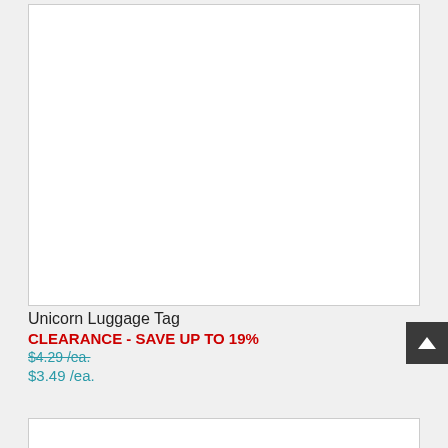[Figure (photo): Product image placeholder for Unicorn Luggage Tag — white box with border]
Unicorn Luggage Tag
CLEARANCE - SAVE UP TO 19%
$4.29 /ea.
$3.49 /ea.
[Figure (photo): Second product image placeholder — white box with border, partially visible]